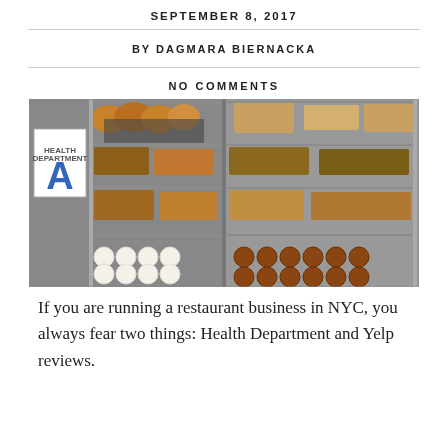SEPTEMBER 8, 2017
BY DAGMARA BIERNACKA
NO COMMENTS
[Figure (photo): Bakery display shelf with two columns of wire racks filled with breads, pastries, and donuts. A health department grade A sign is visible on the left side.]
If you are running a restaurant business in NYC, you always fear two things: Health Department and Yelp reviews.